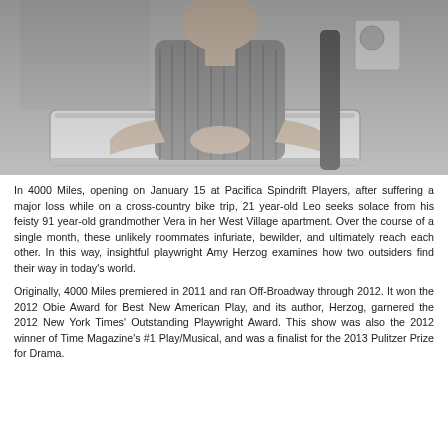[Figure (photo): Black and white photograph of a man sitting at a table with his hands clasped together. He is wearing a striped shirt. There is office equipment visible in the background.]
In 4000 Miles, opening on January 15 at Pacifica Spindrift Players, after suffering a major loss while on a cross-country bike trip, 21 year-old Leo seeks solace from his feisty 91 year-old grandmother Vera in her West Village apartment. Over the course of a single month, these unlikely roommates infuriate, bewilder, and ultimately reach each other. In this way, insightful playwright Amy Herzog examines how two outsiders find their way in today's world.
Originally, 4000 Miles premiered in 2011 and ran Off-Broadway through 2012. It won the 2012 Obie Award for Best New American Play, and its author, Herzog, garnered the 2012 New York Times' Outstanding Playwright Award. This show was also the 2012 winner of Time Magazine's #1 Play/Musical, and was a finalist for the 2013 Pulitzer Prize for Drama.